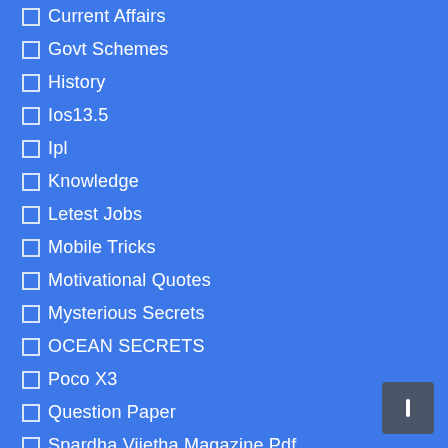Current Affairs
Govt Schemes
History
Ios13.5
Ipl
Knowledge
Letest Jobs
Mobile Tricks
Motivational Quotes
Mysterious Secrets
OCEAN SECRETS
Poco X3
Question Paper
Spardha Vijetha Magazine Pdf
Techtricks